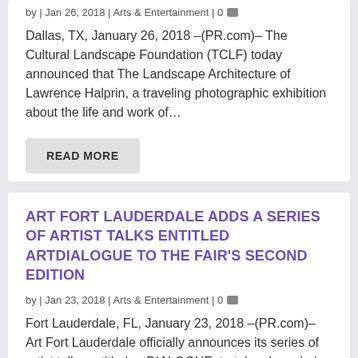by | Jan 26, 2018 | Arts & Entertainment | 0
Dallas, TX, January 26, 2018 –(PR.com)– The Cultural Landscape Foundation (TCLF) today announced that The Landscape Architecture of Lawrence Halprin, a traveling photographic exhibition about the life and work of…
READ MORE
ART FORT LAUDERDALE ADDS A SERIES OF ARTIST TALKS ENTITLED ARTDIALOGUE TO THE FAIR'S SECOND EDITION
by | Jan 23, 2018 | Arts & Entertainment | 0
Fort Lauderdale, FL, January 23, 2018 –(PR.com)– Art Fort Lauderdale officially announces its series of artist talks entitled artDIALOGUE, to take place during the